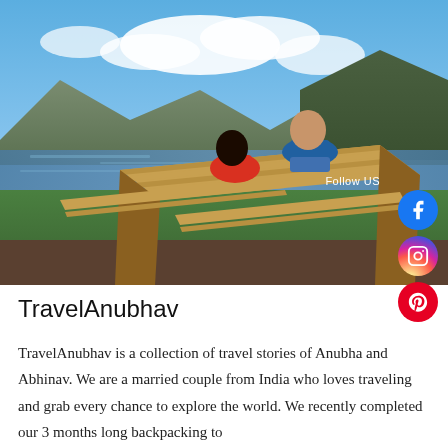[Figure (photo): Two people sitting on a wooden picnic table by a lake with mountains and clouds in the background. A woman in red and a man in blue are facing away from the camera. Social media icons (Facebook, Instagram, Pinterest) overlaid on the right side with 'Follow US' text.]
TravelAnubhav
TravelAnubhav is a collection of travel stories of Anubha and Abhinav. We are a married couple from India who loves traveling and grab every chance to explore the world. We recently completed our 3 months long backpacking to